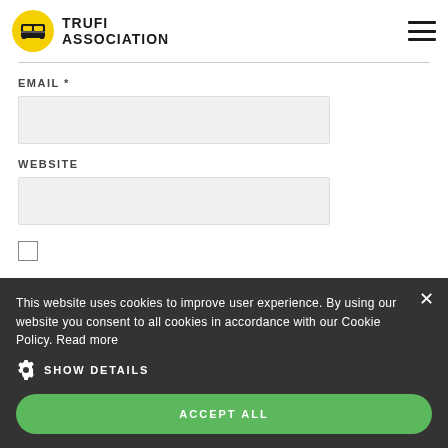[Figure (logo): Trufi Association logo with yellow circle containing a black bus icon and bold text TRUFI ASSOCIATION]
EMAIL *
WEBSITE
This website uses cookies to improve user experience. By using our website you consent to all cookies in accordance with our Cookie Policy. Read more
SHOW DETAILS
ACCEPT ALL